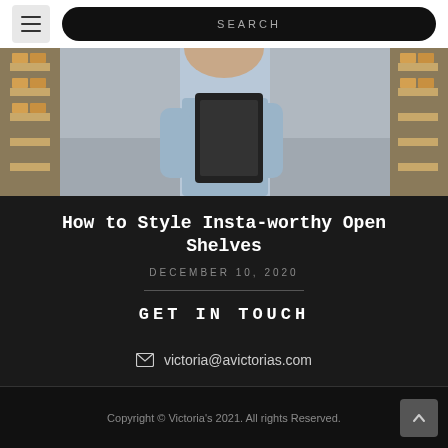SEARCH
[Figure (photo): Person in a warehouse holding a clipboard/tablet, shelves with boxes in background]
How to Style Insta-worthy Open Shelves
DECEMBER 10, 2020
GET IN TOUCH
victoria@avictorias.com
Copyright © Victoria's 2021. All rights Reserved.